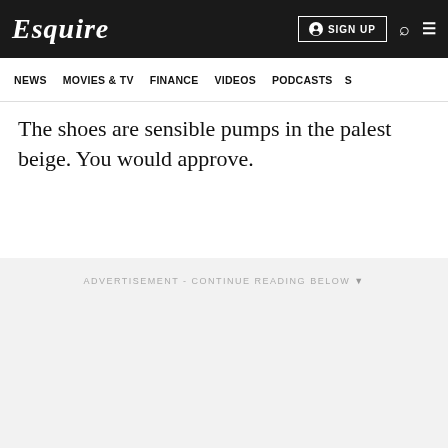Esquire  SIGN UP
NEWS  MOVIES & TV  FINANCE  VIDEOS  PODCASTS
The shoes are sensible pumps in the palest beige. You would approve.
ADVERTISEMENT - CONTINUE READING BELOW